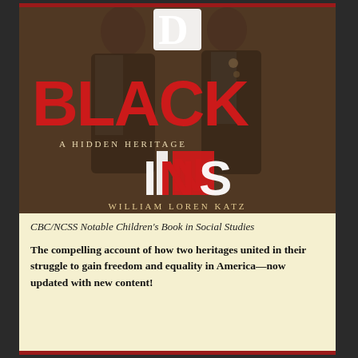[Figure (photo): Book cover of 'Black Indians: A Hidden Heritage' by William Loren Katz. Shows a sepia-toned photograph of two people in formal attire. Large red letters spell 'BLACK' across the middle and stylized letters spell 'DINS' vertically. Subtitle reads 'A Hidden Heritage' and author name 'William Loren Katz' appears at the bottom.]
CBC/NCSS Notable Children's Book in Social Studies
The compelling account of how two heritages united in their struggle to gain freedom and equality in America—now updated with new content!